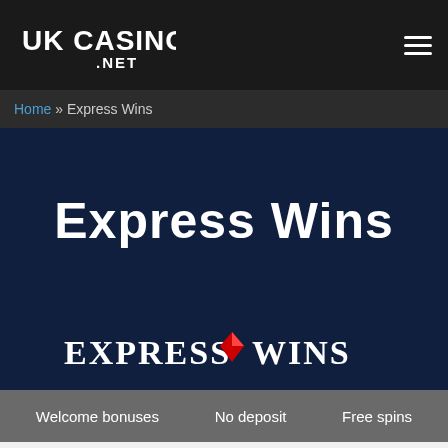[Figure (logo): UK Casino! .NET logo — white bold text on dark background]
Home » Express Wins
Express Wins
[Figure (logo): Express Wins casino logo — white serif text with red diamond icon in middle]
Welcome bonuses   No deposit   Free spins
Express Wins UK Bonuses 18+